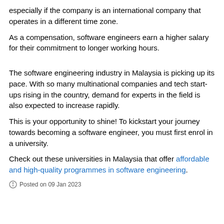especially if the company is an international company that operates in a different time zone.
As a compensation, software engineers earn a higher salary for their commitment to longer working hours.
The software engineering industry in Malaysia is picking up its pace. With so many multinational companies and tech start-ups rising in the country, demand for experts in the field is also expected to increase rapidly.
This is your opportunity to shine! To kickstart your journey towards becoming a software engineer, you must first enrol in a university.
Check out these universities in Malaysia that offer affordable and high-quality programmes in software engineering.
Posted on 09 Jan 2023